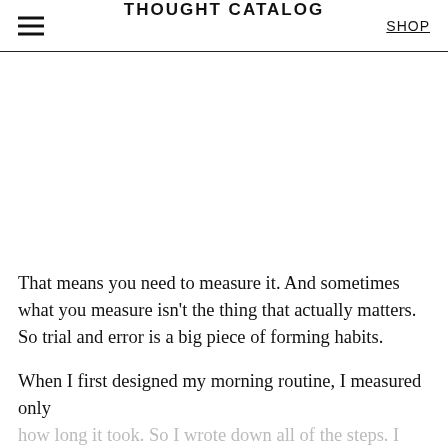THOUGHT CATALOG | SHOP
That means you need to measure it. And sometimes what you measure isn't the thing that actually matters. So trial and error is a big piece of forming habits.
When I first designed my morning routine, I measured only how long it took. So I wrote down all of the steps. I think there were almost thirty steps in total. Then I took a Saturday afternoon and practised three times in a row.